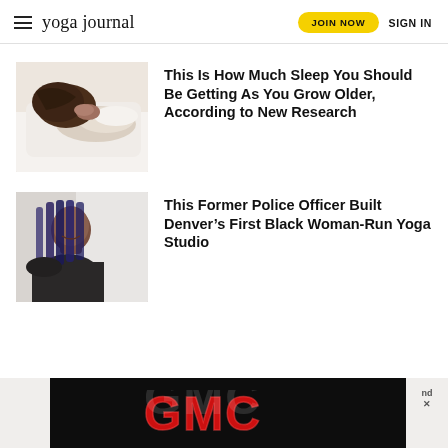yoga journal | JOIN NOW | SIGN IN
[Figure (photo): Person sleeping face-down in white bedding, arms wrapped around head]
This Is How Much Sleep You Should Be Getting As You Grow Older, According to New Research
[Figure (photo): Black woman with long braids smiling, seated, wearing athletic wear]
This Former Police Officer Built Denver’s First Black Woman-Run Yoga Studio
[Figure (logo): GMC logo advertisement banner on black background]